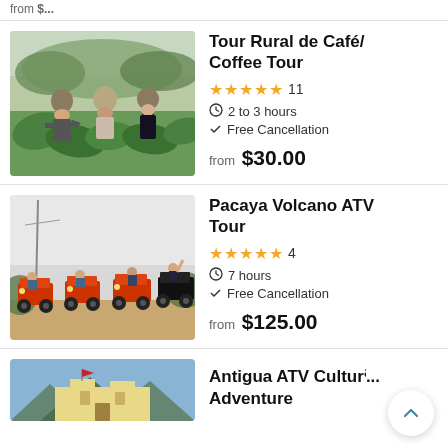from $...
[Figure (photo): Three people in a coffee field with hats and plants]
Tour Rural de Café/ Coffee Tour
★★★★★ 11
⏱ 2 to 3 hours
✓ Free Cancellation
from $30.00
[Figure (photo): Four ATVs with riders on a misty road near Pacaya Volcano]
Pacaya Volcano ATV Tour
★★★★★ 4
⏱ 7 hours
✓ Free Cancellation
from $125.00
[Figure (photo): Partial view of colorful building with flag, bottom of page]
Antigua ATV Cultural Adventure